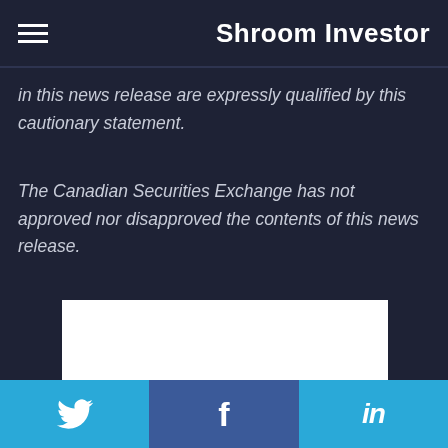Shroom Investor
in this news release are expressly qualified by this cautionary statement.
The Canadian Securities Exchange has not approved nor disapproved the contents of this news release.
[Figure (logo): Entheon company logo: white background with bold black uppercase text reading ENTHEON in a geometric sans-serif font]
Twitter | Facebook | LinkedIn social share buttons